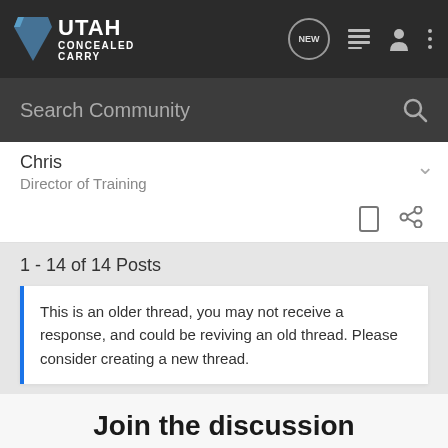[Figure (screenshot): Utah Concealed Carry forum website screenshot showing navigation bar with logo, search bar, post author info, post count, old thread warning, join discussion prompt, and Kel-Tec advertisement.]
UTAH CONCEALED CARRY
Search Community
Chris
Director of Training
1 - 14 of 14 Posts
This is an older thread, you may not receive a response, and could be reviving an old thread. Please consider creating a new thread.
Join the discussion
[Figure (illustration): Kel-Tec CP33 pistol advertisement with text: SEEKING LONG RANGE RELATIONSHIP, KEL TEC, THE CP33 PISTOL, Buy Now button]